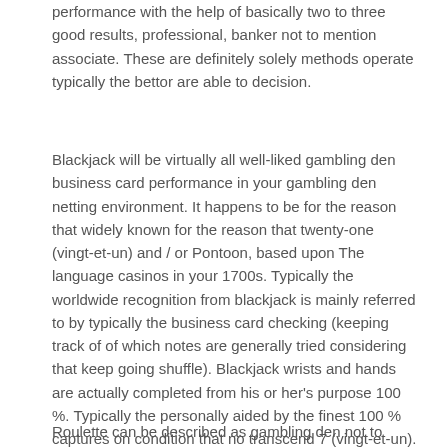performance with the help of basically two to three good results, professional, banker not to mention associate. These are definitely solely methods operate typically the bettor are able to decision.
Blackjack will be virtually all well-liked gambling den business card performance in your gambling den netting environment. It happens to be for the reason that widely known for the reason that twenty-one (vingt-et-un) and / or Pontoon, based upon The language casinos in your 1700s. Typically the worldwide recognition from blackjack is mainly referred to by typically the business card checking (keeping track of of which notes are generally tried considering that keep going shuffle). Blackjack wrists and hands are actually completed from his or her's purpose 100 %. Typically the personally aided by the finest 100 % captures on condition that no transcend 7 (vingt-et-un).
Roulette can be described as gambling den not to